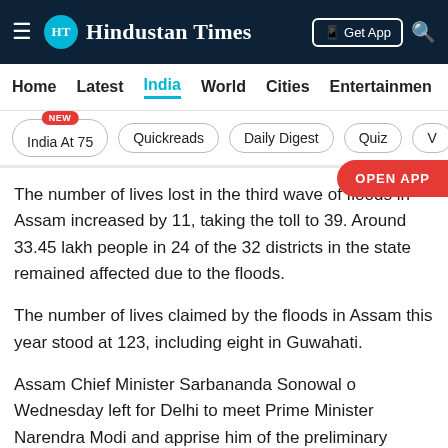Hindustan Times
Home | Latest | India | World | Cities | Entertainment
India At 75 NEW | Quickreads | Daily Digest | Quiz | V
The number of lives lost in the third wave of floods in Assam increased by 11, taking the toll to 39. Around 33.45 lakh people in 24 of the 32 districts in the state remained affected due to the floods.
The number of lives claimed by the floods in Assam this year stood at 123, including eight in Guwahati.
Assam Chief Minister Sarbananda Sonowal o Wednesday left for Delhi to meet Prime Minister Narendra Modi and apprise him of the preliminary damage caused by the third wave of floods.
Read more: No relief has reached us, say flood-affected